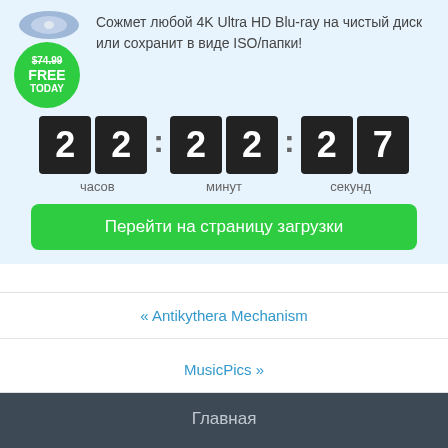[Figure (screenshot): Blu-ray disc image with green price badge showing $74.99 crossed out and FREE TODAY]
Сожмет любой 4K Ultra HD Blu-ray на чистый диск или сохранит в виде ISO/папки!
22 : 22 : 27  часов  минут  секунд
Перейти на страницу загрузки
« Antikythera Mechanism
MusicPics »
Главная
Разработчикам
Подписаться